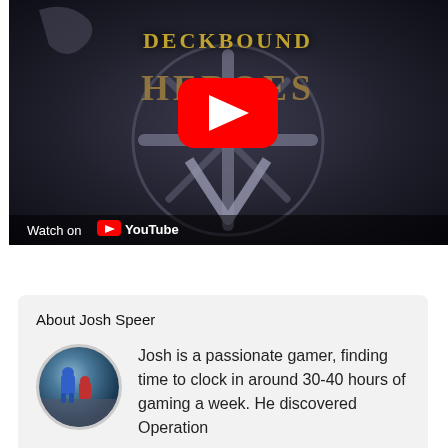[Figure (screenshot): YouTube video thumbnail for 'Deckbound Heroes' game. Dark background with metallic fantasy logo text reading 'DECKBOUND HEROES'. A large red YouTube play button is centered. Bottom left shows 'Watch on YouTube' with YouTube logo.]
About Josh Speer
[Figure (photo): Circular avatar photo of gaming figurines — blue and red miniature characters posed against a stone/dungeon backdrop.]
Josh is a passionate gamer, finding time to clock in around 30-40 hours of gaming a week. He discovered Operation